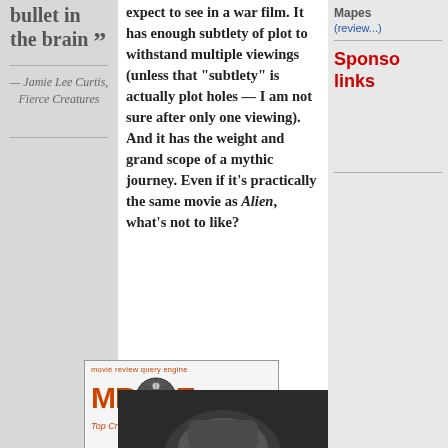bullet in the brain ”
— Jamie Lee Curtis, Fierce Creatures
expect to see in a war film. It has enough subtlety of plot to withstand multiple viewings (unless that “subtlety” is actually plot holes — I am not sure after only one viewing). And it has the weight and grand scope of a mythic journey. Even if it’s practically the same movie as Alien, what’s not to like?
Mapes
(review...)
Sponsored links
[Figure (logo): Movie Review Query Engine (MRQE) logo with film reel graphic and Top Critic badge]
[Figure (photo): Partial photo at bottom of page, appears to show a figure in dark lighting]